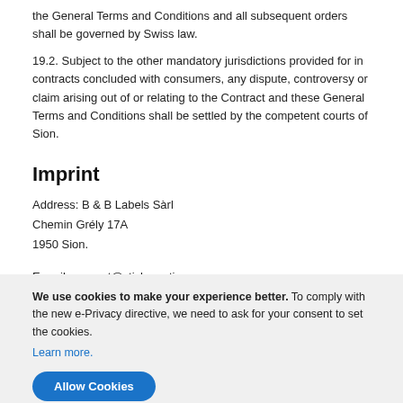the General Terms and Conditions and all subsequent orders shall be governed by Swiss law.
19.2. Subject to the other mandatory jurisdictions provided for in contracts concluded with consumers, any dispute, controversy or claim arising out of or relating to the Contract and these General Terms and Conditions shall be settled by the competent courts of Sion.
Imprint
Address: B & B Labels Sàrl
Chemin Grély 17A
1950 Sion.
E-mail: support@stickeryeti.com
Sales tax identification number: CH-660.03 40.016-2
Commercial register number: CH-244 044 908
We use cookies to make your experience better. To comply with the new e-Privacy directive, we need to ask for your consent to set the cookies. Learn more.
Allow Cookies
Got an instant 15%